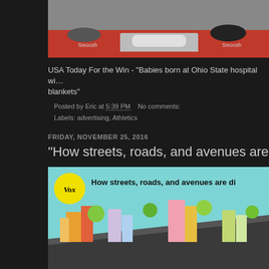[Figure (photo): Nike shoes in red shoe boxes, partially cropped at top]
USA Today For the Win - "Babies born at Ohio State hospital with blankets"
Posted by Eric at 5:39 PM    No comments:
Labels: advertising, Athletics
FRIDAY, NOVEMBER 25, 2016
"How streets, roads, and avenues are
[Figure (screenshot): Vox video thumbnail showing animated city scene with Vox logo and title 'How streets, roads, and avenues are di']